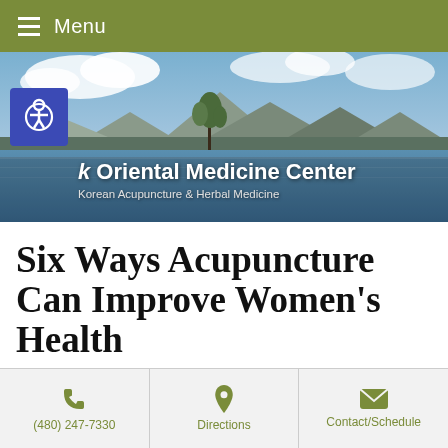Menu
[Figure (photo): Hero banner showing a scenic lake with mountains, a lone tree in water, and overlay text reading 'Park Oriental Medicine Center - Korean Acupuncture & Herbal Medicine']
Six Ways Acupuncture Can Improve Women's Health
[Figure (photo): Left side: decorative label reading 'Acupuncture for Women's Health' with a horizontal divider. Right side: silhouette of a woman dancing against a warm sunset/orange background.]
(480) 247-7330  Directions  Contact/Schedule